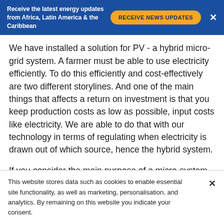Receive the latest energy updates from Africa, Latin America & the Caribbean
We have installed a solution for PV - a hybrid micro-grid system. A farmer must be able to use electricity efficiently. To do this efficiently and cost-effectively are two different storylines. And one of the main things that affects a return on investment is that you keep production costs as low as possible, input costs like electricity. We are able to do that with our technology in terms of regulating when electricity is drawn out of which source, hence the hybrid system.
If you consider the main purpose of a micro-system, it's that it gives you energy. And that energy has to really matter. And what matters is not only the case, but also the surrounding community. In the
This website stores data such as cookies to enable essential site functionality, as well as marketing, personalisation, and analytics. By remaining on this website you indicate your consent.